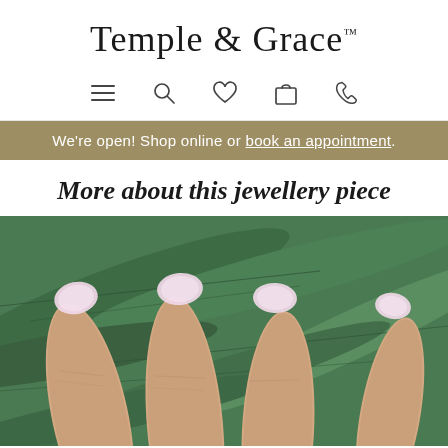Temple & Grace™
[Figure (screenshot): Navigation icons: hamburger menu, search, heart/wishlist, shopping bag, phone]
We're open! Shop online or book an appointment.
More about this jewellery piece
[Figure (photo): Close-up photo of a hand with light pink nails resting on a green tropical leaf background]